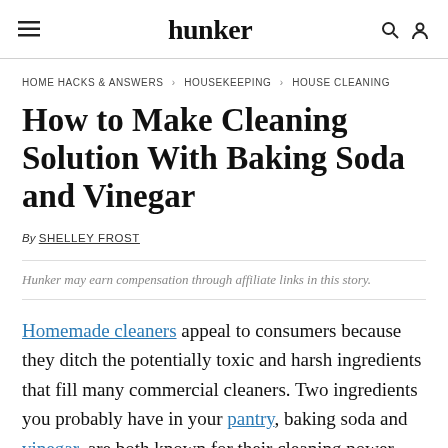hunker
HOME HACKS & ANSWERS > HOUSEKEEPING > HOUSE CLEANING
How to Make Cleaning Solution With Baking Soda and Vinegar
By SHELLEY FROST
Hunker may earn compensation through affiliate links in this story.
Homemade cleaners appeal to consumers because they ditch the potentially toxic and harsh ingredients that fill many commercial cleaners. Two ingredients you probably have in your pantry, baking soda and vinegar, are both known for their cleaning power. Combining